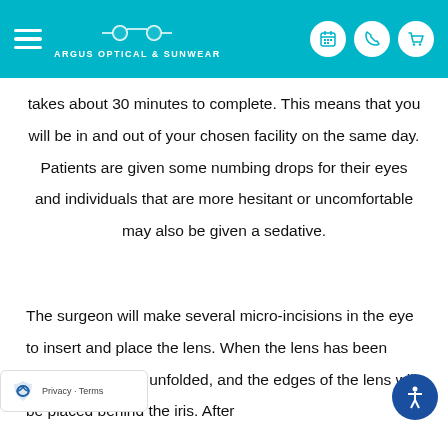Argus Optical & Sunwear
takes about 30 minutes to complete. This means that you will be in and out of your chosen facility on the same day. Patients are given some numbing drops for their eyes and individuals that are more hesitant or uncomfortable may also be given a sedative.
The surgeon will make several micro-incisions in the eye to insert and place the lens. When the lens has been inserted, it will be unfolded, and the edges of the lens will be placed behind the iris. After